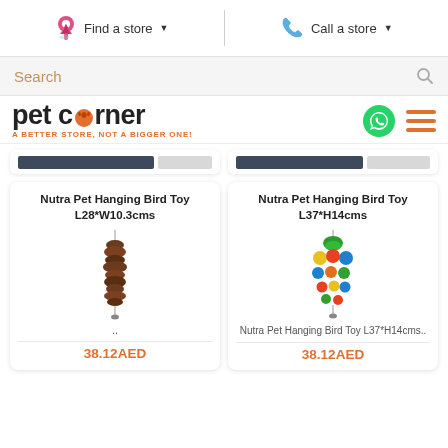Find a store ▾   |   Call a store ▾
Search
[Figure (logo): Pet Corner logo — text 'pet corner' with paw print replacing 'o', tagline 'A BETTER STORE, NOT A BIGGER ONE!' in orange. WhatsApp icon and hamburger menu icon on right.]
[Figure (screenshot): Two partially visible product cards at the top with dark navy and light grey progress/rating bars, cut off at top.]
Nutra Pet Hanging Bird Toy L28*W10.3cms
[Figure (photo): Photo of a brown hanging bird toy made of natural material, stacked segments on a string.]
..
38.12AED
Nutra Pet Hanging Bird Toy L37*H14cms
[Figure (photo): Photo of a colorful hanging bird toy with green, yellow, blue and red beads/balls on a string.]
Nutra Pet Hanging Bird Toy L37*H14cms..
38.12AED